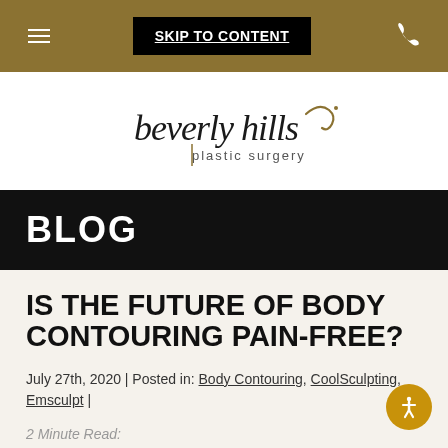SKIP TO CONTENT | [hamburger menu] | [phone icon]
[Figure (logo): Beverly Hills Plastic Surgery logo — stylized script text 'beverly hills' with a decorative swirl and 'plastic surgery' below]
BLOG
IS THE FUTURE OF BODY CONTOURING PAIN-FREE?
July 27th, 2020 | Posted in: Body Contouring, CoolSculpting, Emsculpt |
2 Minute Read: